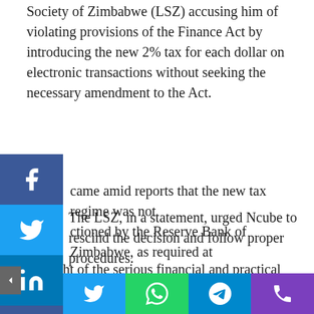Society of Zimbabwe (LSZ) accusing him of violating provisions of the Finance Act by introducing the new 2% tax for each dollar on electronic transactions without seeking the necessary amendment to the Act.
came amid reports that the new tax regime was not ctioned by the Reserve Bank of Zimbabwe, as required at
The LSZ, in a statement, urged Ncube to rescind the decision and follow proper procedures.
“In light of the serious financial and practical implications of the announcement to all enterprise and common persons, there has been a public outcry and calls for the minister to rescind the announcement.